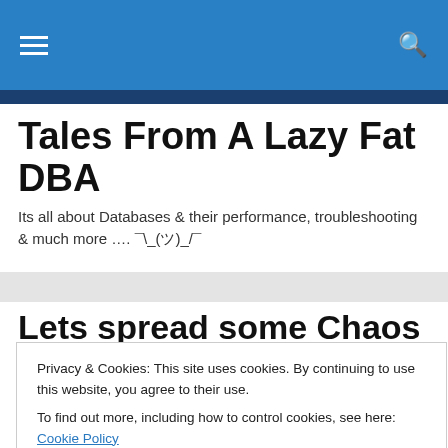≡  🔍
Tales From A Lazy Fat DBA
Its all about Databases & their performance, troubleshooting & much more …. ¯\_(ツ)_/¯
Lets spread some Chaos – Gremlin Chaos Engineering Practitioner Certification
Privacy & Cookies: This site uses cookies. By continuing to use this website, you agree to their use.
To find out more, including how to control cookies, see here: Cookie Policy
Kubernetes environments, applications, microservices,